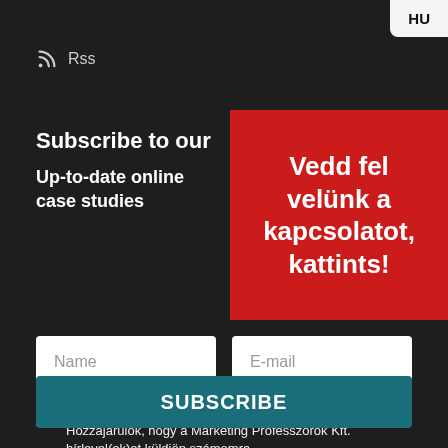HU
Rss
Subscribe to our
Up-to-date online case studies
Vedd fel velünk a kapcsolatot, kattints!
Name
E-mail
Az Adatkezelési tájékoztatóban foglaltakat elfogadom. Hozzájárulok, hogy a Marketing Professzorok Kft. hírlevel(ek)et küldjön számomra.
SUBSCRIBE